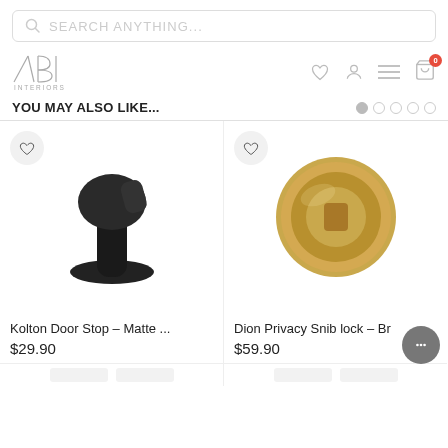[Figure (screenshot): Search bar with magnifying glass icon and placeholder text SEARCH ANYTHING...]
[Figure (logo): ABI Interiors logo with navigation icons: heart, user, menu, shopping cart with badge 0]
YOU MAY ALSO LIKE...
[Figure (photo): Kolton Door Stop in Matte Black finish — a cylindrical black metal door stop mounted on a round base]
Kolton Door Stop – Matte ...
$29.90
[Figure (photo): Dion Privacy Snib lock in Brushed Brass finish — a circular round knob plate in gold/brass tone]
Dion Privacy Snib lock – Br
$59.90